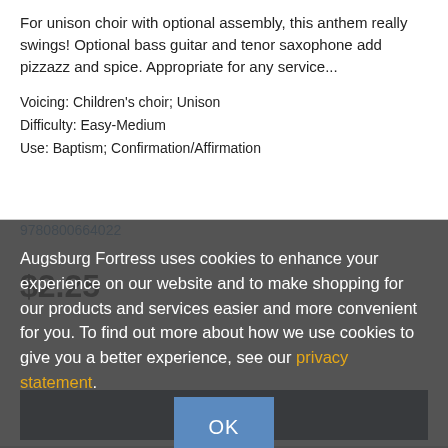For unison choir with optional assembly, this anthem really swings! Optional bass guitar and tenor saxophone add pizzazz and spice. Appropriate for any service...
Voicing: Children's choir; Unison
Difficulty: Easy-Medium
Use: Baptism; Confirmation/Affirmation
9780800664022
$2.25
Augsburg Fortress uses cookies to enhance your experience on our website and to make shopping for our products and services easier and more convenient for you. To find out more about how we use cookies to give you a better experience, see our privacy statement.
Add to Cart
OK